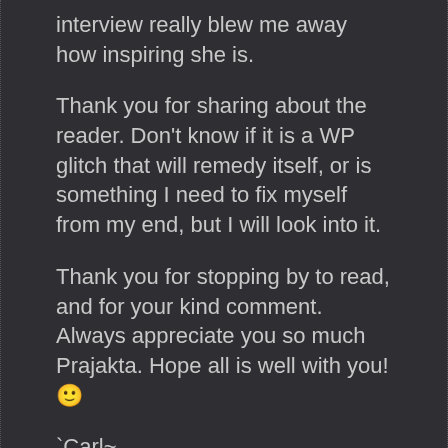interview really blew me away how inspiring she is.
Thank you for sharing about the reader. Don't know if it is a WP glitch that will remedy itself, or is something I need to fix myself from my end, but I will look into it.
Thank you for stopping by to read, and for your kind comment. Always appreciate you so much Prajakta. Hope all is well with you! 🙂
`Carl~